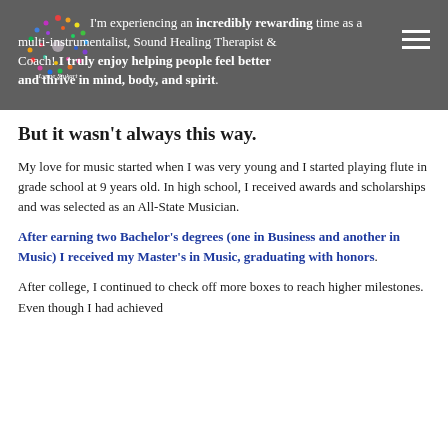I'm experiencing an incredibly rewarding time as a multi-instrumentalist, Sound Healing Therapist & Coach! I truly enjoy helping people feel better and thrive in mind, body, and spirit.
[Figure (logo): Colorful circular logo with 'Lynne Stukart' text]
But it wasn't always this way.
My love for music started when I was very young and I started playing flute in grade school at 9 years old. In high school, I received awards and scholarships and was selected as an All-State Musician.
After earning two Bachelor's degrees (one in Business and another in Music) I received my Master's in Music, graduating with honors.
After college, I continued to check off more boxes to reach higher milestones. Even though I had achieved